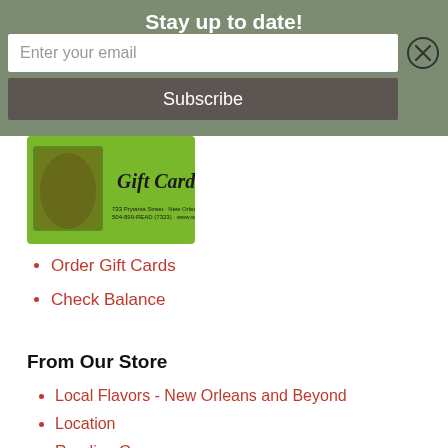Stay up to date!
Enter your email
Subscribe
[Figure (photo): Green gift card with an image of a bookstore and the text 'Gift Card']
Order Gift Cards
Check Balance
From Our Store
Local Flavors - New Orleans and Beyond
Location
Reading Groups
Local Authors
Signed Books